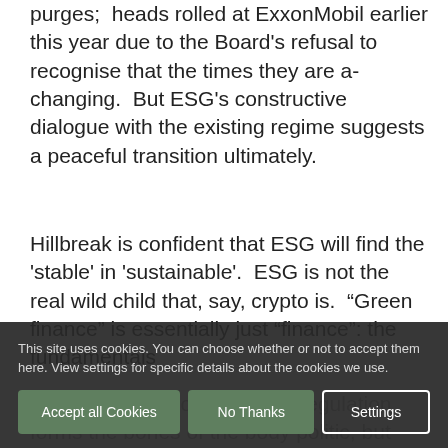purges;  heads rolled at ExxonMobil earlier this year due to the Board's refusal to recognise that the times they are a-changing.  But ESG's constructive dialogue with the existing regime suggests a peaceful transition ultimately.
Hillbreak is confident that ESG will find the 'stable' in 'sustainable'.  ESG is not the real wild child that, say, crypto is.  "Green finance" is essentially just "finance": the fundamentals of integrity are no different.  Regulation forms the bones of the body politic, but governance must flesh it out.  Irrespective of whether CO... standards, every the direction of travel is clear.
This site uses cookies. You can choose whether or not to accept them here. View settings for specific details about the cookies we use.